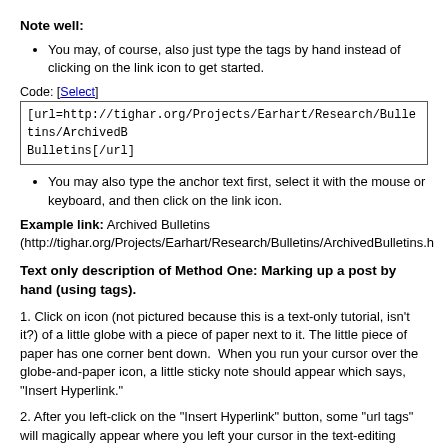Note well:
You may, of course, also just type the tags by hand instead of clicking on the link icon to get started.
Code: [Select]
[url=http://tighar.org/Projects/Earhart/Research/Bulletins/ArchivedBulletins[/url]
You may also type the anchor text first, select it with the mouse or keyboard, and then click on the link icon.
Example link: Archived Bulletins (http://tighar.org/Projects/Earhart/Research/Bulletins/ArchivedBulletins.h
Text only description of Method One: Marking up a post by hand (using tags).
1. Click on icon (not pictured because this is a text-only tutorial, isn't it?) of a little globe with a piece of paper next to it. The little piece of paper has one corner bent down.  When you run your cursor over the globe-and-paper icon, a little sticky note should appear which says, "Insert Hyperlink."
2. After you left-click on the "Insert Hyperlink" button, some "url tags" will magically appear where you left your cursor in the text-editing window.  The abbreviation "url" and "/url" will be encased in [square brackets] and placed next to each other.  I can't show you how this looks because the editor won't let me leave empty URL tags between the code tags.  That's life with